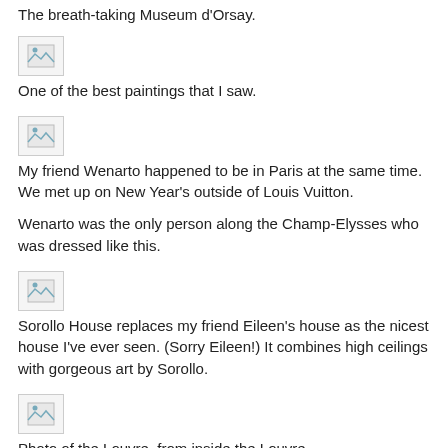The breath-taking Museum d'Orsay.
[Figure (photo): Broken/missing image placeholder icon]
One of the best paintings that I saw.
[Figure (photo): Broken/missing image placeholder icon]
My friend Wenarto happened to be in Paris at the same time. We met up on New Year's outside of Louis Vuitton.
Wenarto was the only person along the Champ-Elysses who was dressed like this.
[Figure (photo): Broken/missing image placeholder icon]
Sorollo House replaces my friend Eileen's house as the nicest house I've ever seen. (Sorry Eileen!) It combines high ceilings with gorgeous art by Sorollo.
[Figure (photo): Broken/missing image placeholder icon]
Photo of the Louvre, from inside the Louvre.